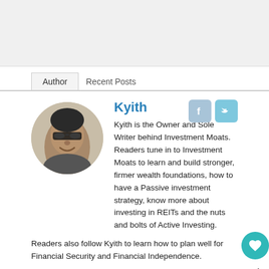Author | Recent Posts
Kyith
[Figure (photo): Circular profile photo of Kyith, a man wearing glasses, smiling]
Kyith is the Owner and Sole Writer behind Investment Moats. Readers tune in to Investment Moats to learn and build stronger, firmer wealth foundations, how to have a Passive investment strategy, know more about investing in REITs and the nuts and bolts of Active Investing.

Readers also follow Kyith to learn how to plan well for Financial Security and Financial Independence.

Kyith worked as an IT operations engineer from 2004 to 2019. Currently, he works as a Senior Solutions Specialist in FSMOne.